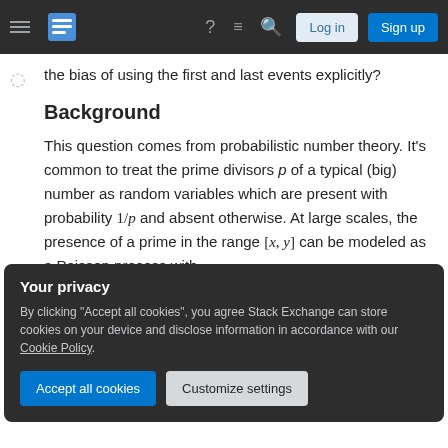Stack Exchange navigation bar with hamburger menu, logo, help, chat, search icons, Log in and Sign up buttons
the bias of using the first and last events explicitly?
Background
This question comes from probabilistic number theory. It's common to treat the prime divisors p of a typical (big) number as random variables which are present with probability 1/p and absent otherwise. At large scales, the presence of a prime in the range [x, y] can be modeled as a Poisson process with λ = log log y − log log x.
Your privacy
By clicking "Accept all cookies", you agree Stack Exchange can store cookies on your device and disclose information in accordance with our Cookie Policy.
Accept all cookies
Customize settings